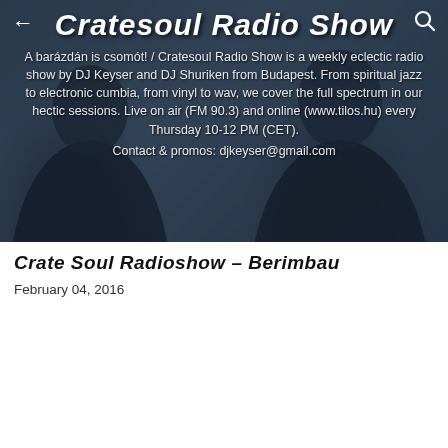[Figure (photo): Dark photo banner of two DJs with blue-grey overlay, showing 'Cratesoul Radio Show' title and description text]
Cratesoul Radio Show
A barázdán is csomót! / Cratesoul Radio Show is a weekly eclectic radio show by DJ Keyser and DJ Shuriken from Budapest. From spiritual jazz to electronic cumbia, from vinyl to wav, we cover the full spectrum in our hectic sessions. Live on air (FM 90.3) and online (www.tilos.hu) every Thursday 10-12 PM (CET).
Contact & promos: djkeyser@gmail.com
Crate Soul Radioshow – Berimbau
February 04, 2016
[Figure (screenshot): Audio player showing album art for Baden Marcia, track 'Cratesoul Radio Show 02/04/2...' by Cratesoul Radio Sh... with FOLLOW button, progress bar showing 00:00 to -2:14:41 with playback controls]